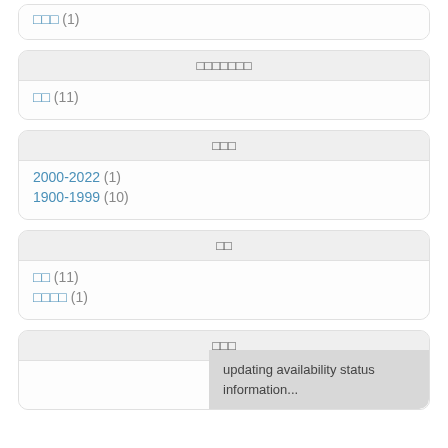□□□ (1)
□□□□□□□
□□ (11)
□□□
2000-2022 (1)
1900-1999 (10)
□□
□□ (11)
□□□□ (1)
□□□
updating availability status information...